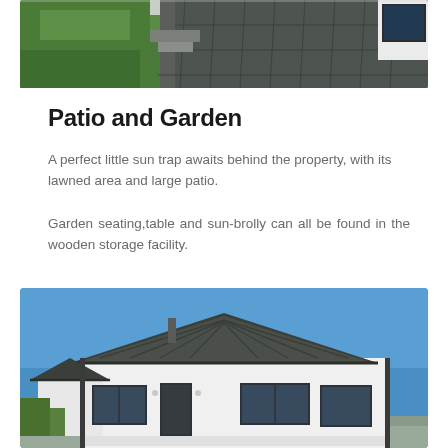[Figure (photo): Outdoor patio area with dark slate tiles, green lawn, and white modern building exterior with large dark-framed windows and sliding doors]
Patio and Garden
A perfect little sun trap awaits behind the property, with its lawned area and large patio.
Garden seating,table and sun-brolly can all be found in the wooden storage facility.
[Figure (photo): Exterior front view of a white bungalow with dark slate roof, dark framed windows and front door, under a clear blue sky]